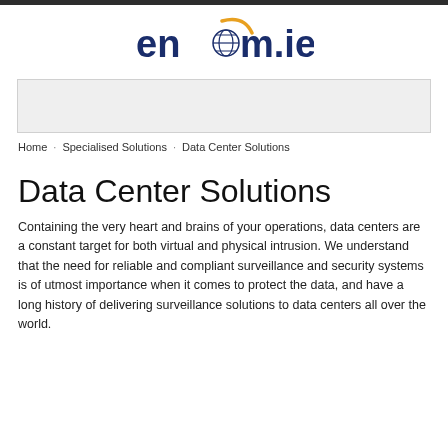[Figure (logo): encom.ie logo with globe icon and orange arc]
[Figure (other): Light grey banner/advertisement placeholder]
Home · Specialised Solutions · Data Center Solutions
Data Center Solutions
Containing the very heart and brains of your operations, data centers are a constant target for both virtual and physical intrusion. We understand that the need for reliable and compliant surveillance and security systems is of utmost importance when it comes to protect the data, and have a long history of delivering surveillance solutions to data centers all over the world.